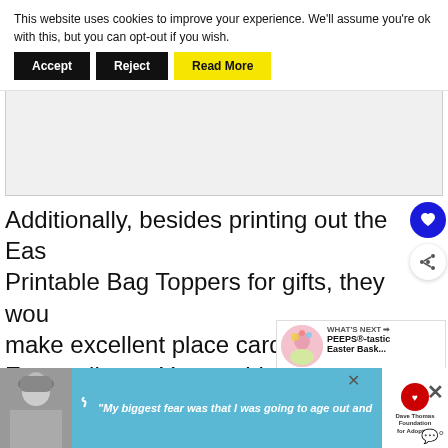This website uses cookies to improve your experience. We'll assume you're ok with this, but you can opt-out if you wish.
Accept | Reject | Read More
[Figure (other): Gray advertisement placeholder block]
Additionally, besides printing out the Eas... Printable Bag Toppers for gifts, they wou... make excellent place cards for gu... Easter dinner. You could write each
[Figure (other): WHAT'S NEXT promo: PEEPS-tastic Easter Bask...]
[Figure (other): Bottom advertisement banner with person photo and Dave Thomas Foundation for Adoption logo]